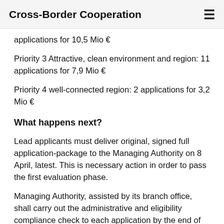Cross-Border Cooperation
applications for 10,5 Mio €
Priority 3 Attractive, clean environment and region: 11 applications for 7,9 Mio €
Priority 4 well-connected region: 2 applications for 3,2 Mio €
What happens next?
Lead applicants must deliver original, signed full application-package to the Managing Authority on 8 April, latest. This is necessary action in order to pass the first evaluation phase.
Managing Authority, assisted by its branch office, shall carry out the administrative and eligibility compliance check to each application by the end of May. Lead applicants may be contacted for further clarifications during the process.